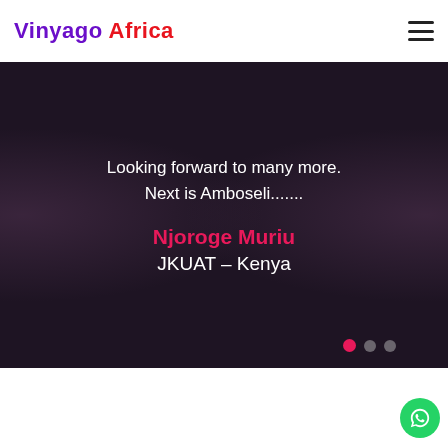Vinyago Africa
Looking forward to many more.
Next is Amboseli.......
Njoroge Muriu
JKUAT - Kenya
[Figure (other): WhatsApp contact button (green circle with WhatsApp logo)]